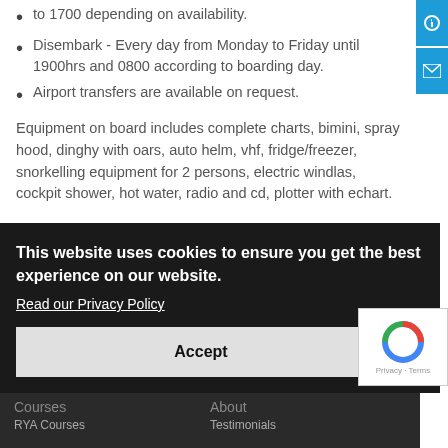to 1700 depending on availability.
Disembark - Every day from Monday to Friday until 1900hrs and 0800 according to boarding day.
Airport transfers are available on request.
Equipment on board includes complete charts, bimini, spray hood, dinghy with oars, auto helm, vhf, fridge/freezer, snorkelling equipment for 2 persons, electric windlas, cockpit shower, hot water, radio and cd, plotter with echart.
This website uses cookies to ensure you get the best experience on our website.
Read our Privacy Policy
Accept
Courses
About
RYA Courses
Testimonials